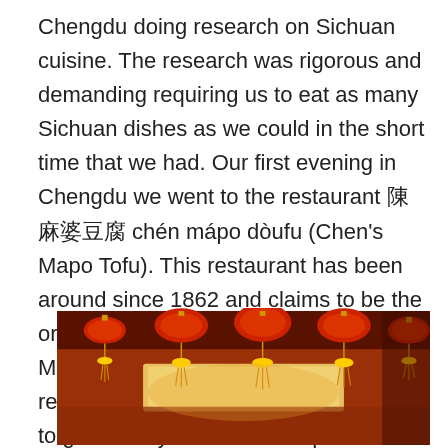Chengdu doing research on Sichuan cuisine. The research was rigorous and demanding requiring us to eat as many Sichuan dishes as we could in the short time that we had. Our first evening in Chengdu we went to the restaurant 陈麻婆豆腐 chén mápo dòufu (Chen's Mapo Tofu). This restaurant has been around since 1862 and claims to be the originator of the famous Sichuan dish, Mapo Doufu, a spicy tofu dish. We had read about this restaurant and wanted to give it a try. We are both quite fond of Mapo Doufu and I have eaten it all over China, but never at its source.
[Figure (photo): Interior of Chen's Mapo Tofu restaurant in Chengdu, showing red lanterns hanging from the ceiling with yellow tassels, illuminated by warm golden light from a central ceiling panel.]